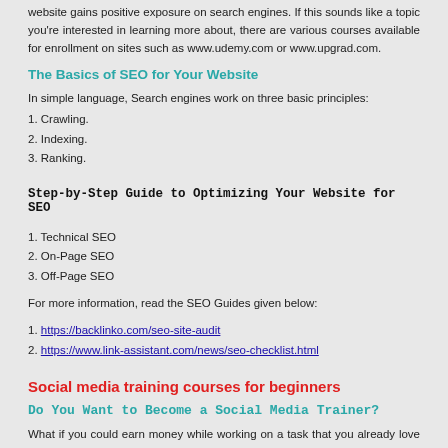website gains positive exposure on search engines. If this sounds like a topic you're interested in learning more about, there are various courses available for enrollment on sites such as www.udemy.com or www.upgrad.com.
The Basics of SEO for Your Website
In simple language, Search engines work on three basic principles:
1. Crawling.
2. Indexing.
3. Ranking.
Step-by-Step Guide to Optimizing Your Website for SEO
1. Technical SEO
2. On-Page SEO
3. Off-Page SEO
For more information, read the SEO Guides given below:
1. https://backlinko.com/seo-site-audit
2. https://www.link-assistant.com/news/seo-checklist.html
Social media training courses for beginners
Do You Want to Become a Social Media Trainer?
What if you could earn money while working on a task that you already love doing? Social media is growing rapidly. For anyone looking to move into the social media space, becoming a social media trainer may be the perfect option. People